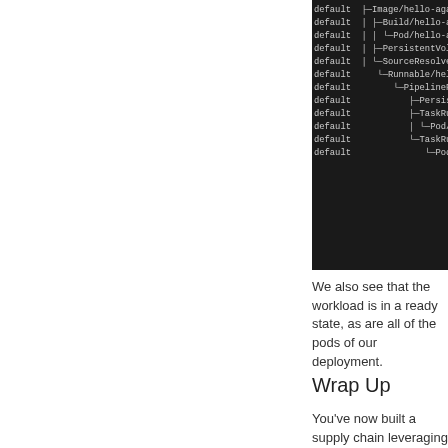[Figure (screenshot): Terminal/console output showing a tree of Kubernetes resources with 'default' namespace entries including Image, Build, Pod, PersistentVolumeClaim, SourceResolver, Runnable, PipelineRun, TaskRun nodes]
We also see that the workload is in a ready state, as are all of the pods of our deployment.
Wrap Up
You've now built a supply chain leveraging runnables. Your app platform can now provide testing,